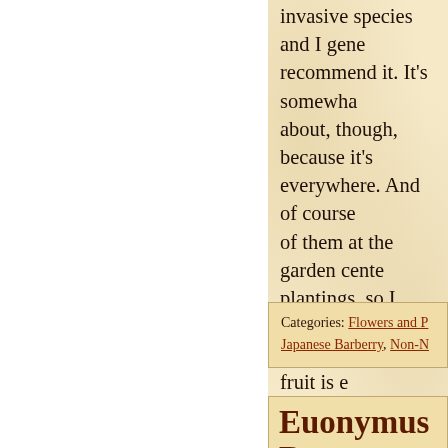invasive species and I generally recommend it. It's somewhat about, though, because it's everywhere. And of course of them at the garden center plantings, so I understand w them. Note that the fruit is e similar to cranberries.
Categories: Flowers and P Japanese Barberry, Non-N
Euonymus Berr
Photograph taken on Tuesday, Novembe
Along the fence at the north garden is a tall hedge of Eu early in the summer and the